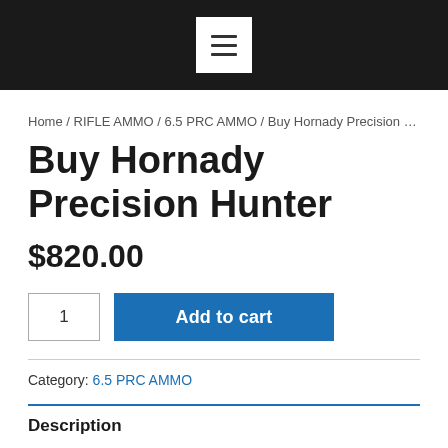Hamburger menu button
Home / RIFLE AMMO / 6.5 PRC AMMO / Buy Hornady Precision Hunter
Buy Hornady Precision Hunter
$820.00
1  Add to cart
Category: 6.5 PRC AMMO
Description
Buy Hornady Precision Hunter online
Buy Hornady precision hunter for sale at Tactical Ammo Shop